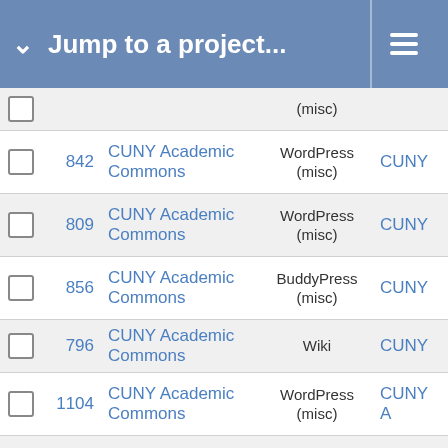Jump to a project...
|  | ID | Project | Type | Assignee |
| --- | --- | --- | --- | --- |
|  |  |  | (misc) |  |
|  | 842 | CUNY Academic Commons | WordPress (misc) | CUNY |
|  | 809 | CUNY Academic Commons | WordPress (misc) | CUNY |
|  | 856 | CUNY Academic Commons | BuddyPress (misc) | CUNY |
|  | 796 | CUNY Academic Commons | Wiki | CUNY |
|  | 1104 | CUNY Academic Commons | WordPress (misc) | CUNY A |
|  | 773 | CUNY Academic Commons | WordPress (misc) | CUNY A |
|  | 1143 | CUNY Academic Commons | BuddyPress (misc) | CUNY |
|  | 1321 | CUNY Academic Commons | BuddyPress (misc) | CUNY |